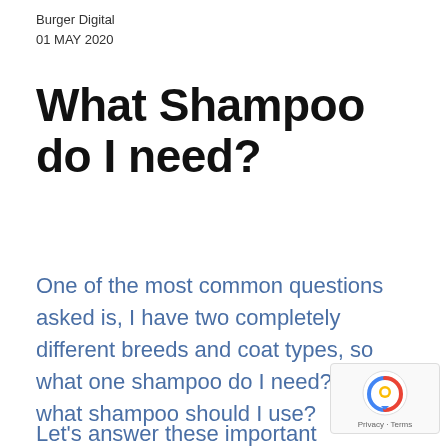Burger Digital
01 MAY 2020
What Shampoo do I need?
One of the most common questions asked is, I have two completely different breeds and coat types, so what one shampoo do I need? and what shampoo should I use?
Let’s answer these important questions. There is no